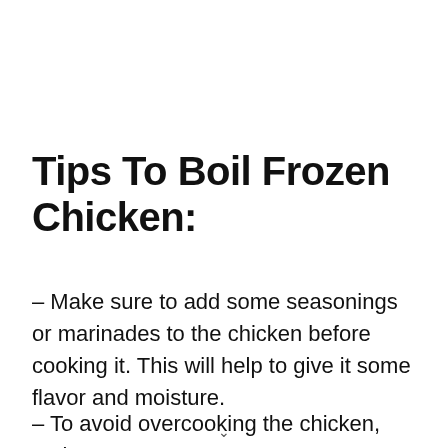Tips To Boil Frozen Chicken:
– Make sure to add some seasonings or marinades to the chicken before cooking it. This will help to give it some flavor and moisture.
– To avoid overcooking the chicken, make